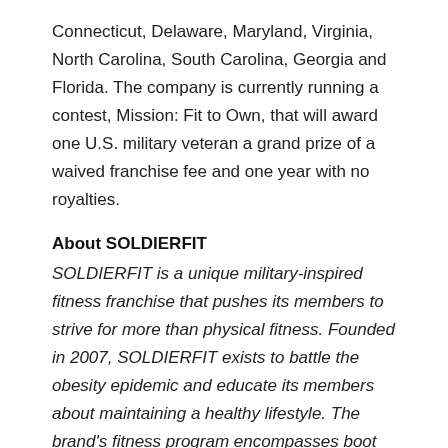Connecticut, Delaware, Maryland, Virginia, North Carolina, South Carolina, Georgia and Florida. The company is currently running a contest, Mission: Fit to Own, that will award one U.S. military veteran a grand prize of a waived franchise fee and one year with no royalties.
About SOLDIERFIT
SOLDIERFIT is a unique military-inspired fitness franchise that pushes its members to strive for more than physical fitness. Founded in 2007, SOLDIERFIT exists to battle the obesity epidemic and educate its members about maintaining a healthy lifestyle. The brand's fitness program encompasses boot camp classes, kids' fitness programs, personal training and functional fitness.